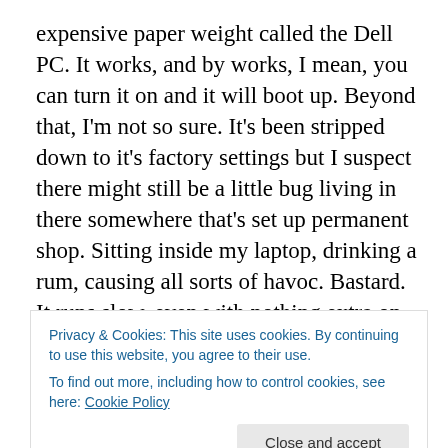expensive paper weight called the Dell PC. It works, and by works, I mean, you can turn it on and it will boot up. Beyond that, I'm not so sure. It's been stripped down to it's factory settings but I suspect there might still be a little bug living in there somewhere that's set up permanent shop. Sitting inside my laptop, drinking a rum, causing all sorts of havoc. Bastard. It runs slow, even with nothing extra on it and it scares the hell out of me to think that I'll be right in the middle of a large assignment/paper having forgotten to save after the last three pages and POOF!, that damn
Privacy & Cookies: This site uses cookies. By continuing to use this website, you agree to their use.
To find out more, including how to control cookies, see here: Cookie Policy
the apps we have will work on both, switching back and